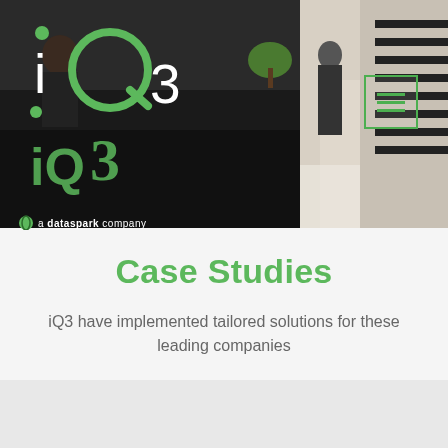[Figure (photo): Office reception area with dark desk and two people standing near stairs in a bright lobby]
Case Studies
iQ3 have implemented tailored solutions for these leading companies